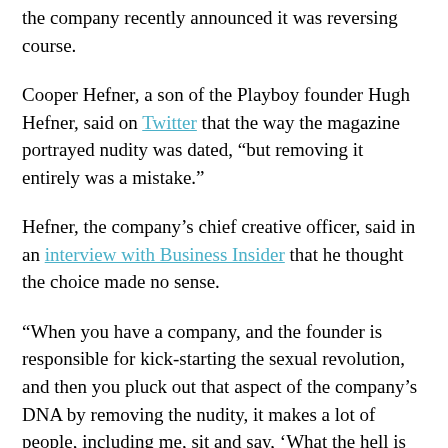the company recently announced it was reversing course.
Cooper Hefner, a son of the Playboy founder Hugh Hefner, said on Twitter that the way the magazine portrayed nudity was dated, “but removing it entirely was a mistake.”
Hefner, the company’s chief creative officer, said in an interview with Business Insider that he thought the choice made no sense.
“When you have a company, and the founder is responsible for kick-starting the sexual revolution, and then you pluck out that aspect of the company’s DNA by removing the nudity, it makes a lot of people, including me, sit and say, ‘What the hell is the company doing?’” he said.
What the hell is the company doing, indeed, is what I say.
When Playboy revamped the magazine, it lost some of its